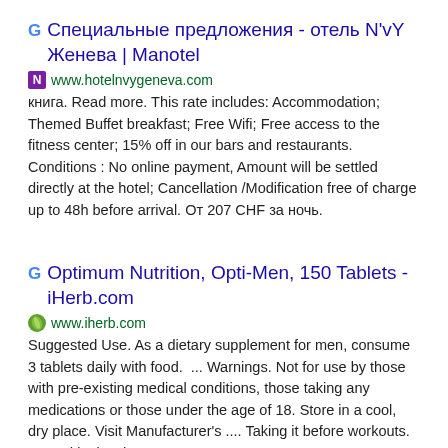Специальные предложения - отель N'vY Женева | Manotel
www.hotelnvygeneva.com
книга. Read more. This rate includes: Accommodation; Themed Buffet breakfast; Free Wifi; Free access to the fitness center; 15% off in our bars and restaurants. Conditions : No online payment, Amount will be settled directly at the hotel; Cancellation /Modification free of charge up to 48h before arrival. От 207 CHF за ночь.
Optimum Nutrition, Opti-Men, 150 Tablets - iHerb.com
www.iherb.com
Suggested Use. As a dietary supplement for men, consume 3 tablets daily with food.  ... Warnings. Not for use by those with pre-existing medical conditions, those taking any medications or those under the age of 18. Store in a cool, dry place. Visit Manufacturer's .... Taking it before workouts. Posted by iHerb